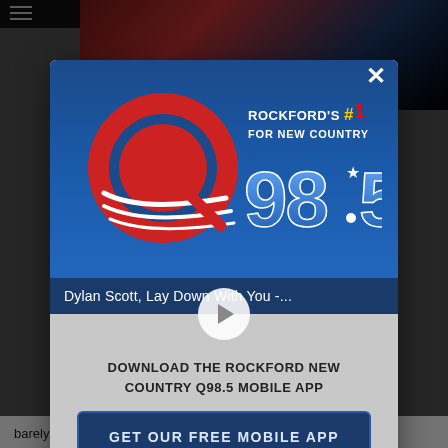[Figure (screenshot): Background webpage showing Q98.5 radio station website with dark header and article content]
[Figure (logo): Q98.5 radio station logo - Rockford's #1 For New Country, large red Q with 98.5 text on blue background]
Dylan Scott, Lay Down With You -...
DOWNLOAD THE ROCKFORD NEW COUNTRY Q98.5 MOBILE APP
GET OUR FREE MOBILE APP
Also listen on:  amazon alexa
barely showing. People also shared an image of their